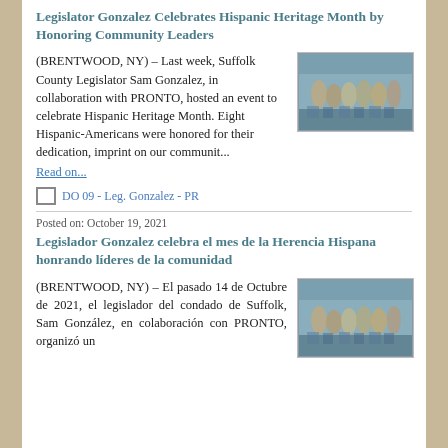Legislator Gonzalez Celebrates Hispanic Heritage Month by Honoring Community Leaders
(BRENTWOOD, NY) – Last week, Suffolk County Legislator Sam Gonzalez, in collaboration with PRONTO, hosted an event to celebrate Hispanic Heritage Month. Eight Hispanic-Americans were honored for their dedication, imprint on our communit...
[Figure (photo): Group photo of people standing together holding certificates at an event]
Read on...
DO 09 - Leg. Gonzalez - PR
Posted on: October 19, 2021
Legislador Gonzalez celebra el mes de la Herencia Hispana honrando líderes de la comunidad
(BRENTWOOD, NY) – El pasado 14 de Octubre de 2021, el legislador del condado de Suffolk, Sam González, en colaboración con PRONTO, organizó un
[Figure (photo): Group photo of people standing together holding certificates at an event]